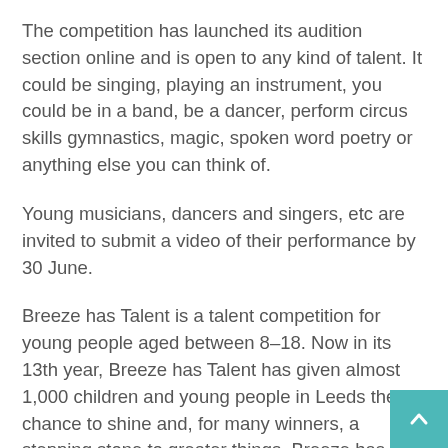The competition has launched its audition section online and is open to any kind of talent. It could be singing, playing an instrument, you could be in a band, be a dancer, perform circus skills gymnastics, magic, spoken word poetry or anything else you can think of.
Young musicians, dancers and singers, etc are invited to submit a video of their performance by 30 June.
Breeze has Talent is a talent competition for young people aged between 8–18. Now in its 13th year, Breeze has Talent has given almost 1,000 children and young people in Leeds the chance to shine and, for many winners, a stepping stone to greater things. Breeze has Talent has also become a regular point of call for the organisers of Britain's Got Talent, The X Factor an